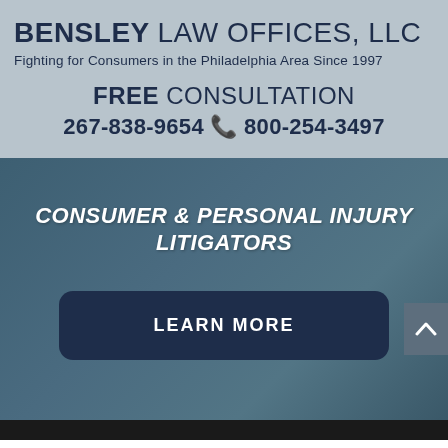BENSLEY LAW OFFICES, LLC
Fighting for Consumers in the Philadelphia Area Since 1997
FREE CONSULTATION
267-838-9654 📞 800-254-3497
CONSUMER & PERSONAL INJURY LITIGATORS
LEARN MORE
[Figure (other): Dark bottom navigation bar]